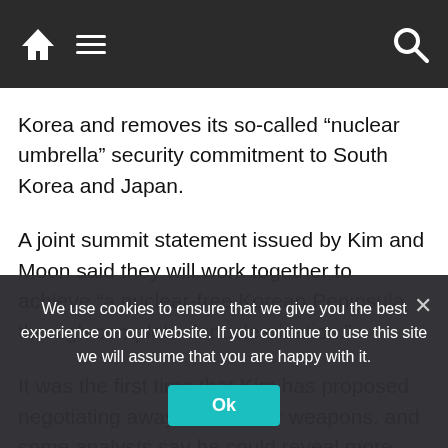Navigation bar with home, menu, and search icons
Korea and removes its so-called “nuclear umbrella” security commitment to South Korea and Japan.
A joint summit statement issued by Kim and Moon said they will work together to achieve “a nuclear-free Korean Peninsula through complete denuclearization.”
It was the first time that Kim has proposed negotiating away his nuclear weapons, and some analysts say he could reveal more substantial disarmament measures in his meeting with Trump, including the possible scrapping of his long-range missile program that has posed a direct threat to the
We use cookies to ensure that we give you the best experience on our website. If you continue to use this site we will assume that you are happy with it.